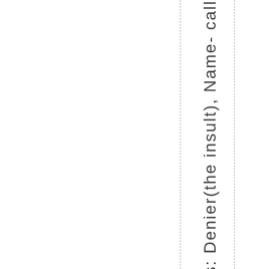s: Denier(the insult), Name- call